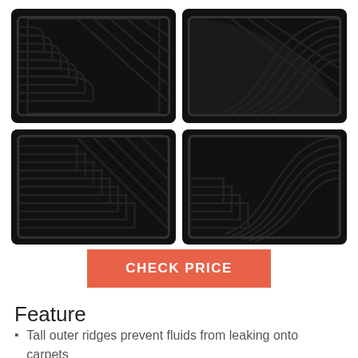[Figure (photo): Four black rubber car floor mats arranged in a 2x2 grid. Two larger mats on top row and two mats on the bottom row, all with textured ridged surface patterns.]
CHECK PRICE
Feature
Tall outer ridges prevent fluids from leaking onto carpets
Heavy ribbed backing secures mats in place